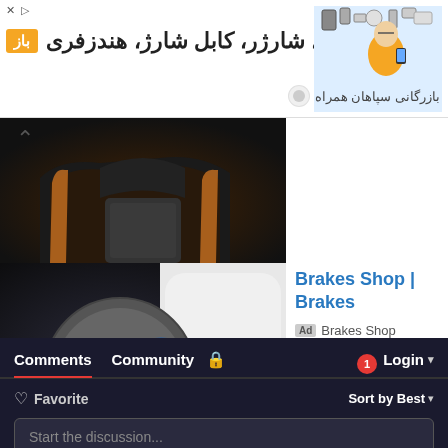[Figure (screenshot): Advertisement banner with Persian text. Orange tag label 'باز', Persian headline 'گلس، شارژر، کابل شارژ، هندزفری', and brand name 'بازرگانی سپاهان همراه' on right side with product image of person holding phone.]
[Figure (photo): Car interior photo showing brown/orange leather seats in a dark vehicle interior.]
[Figure (photo): Close-up photo of car brake disc and caliper with blue tape/wrapping visible.]
Brakes Shop | Brakes
Ad  Brakes Shop
Comments   Community   🔒   1   Login ▾
♡ Favorite
Sort by Best ▾
Start the discussion...